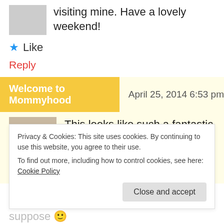visiting mine. Have a lovely weekend!
★ Like
Reply
Welcome to Mommyhood   April 25, 2014 6:53 pm
[Figure (photo): Black and white photo of two adults kissing a baby]
This looks like such a fantastic day of fun!
On a side note – I really like that you
Privacy & Cookies: This site uses cookies. By continuing to use this website, you agree to their use. To find out more, including how to control cookies, see here: Cookie Policy
Close and accept
suppose 😊